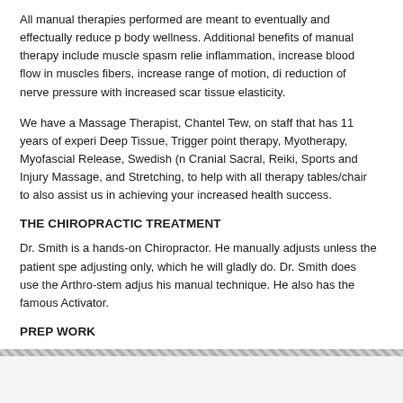All manual therapies performed are meant to eventually and effectually reduce p... body wellness. Additional benefits of manual therapy include muscle spasm relie... inflammation, increase blood flow in muscles fibers, increase range of motion, di... reduction of nerve pressure with increased scar tissue elasticity.
We have a Massage Therapist, Chantel Tew, on staff that has 11 years of experi... Deep Tissue, Trigger point therapy, Myotherapy, Myofascial Release, Swedish (n... Cranial Sacral, Reiki, Sports and Injury Massage, and Stretching, to help with all... therapy tables/chair to also assist us in achieving your increased health success...
THE CHIROPRACTIC TREATMENT
Dr. Smith is a hands-on Chiropractor. He manually adjusts unless the patient spe... adjusting only, which he will gladly do. Dr. Smith does use the Arthro-stem adjus... his manual technique. He also has the famous Activator.
PREP WORK
At Dr. Smith's office the patient is always prepped BEFORE the adjustments with... therapies as mentioned above. In this way the professionals know that the soft ti... actual Chiropractic care.